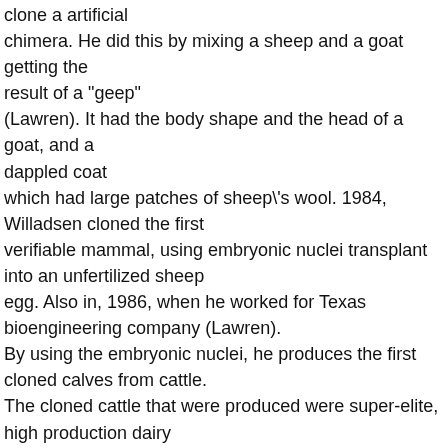clone a artificial chimera. He did this by mixing a sheep and a goat getting the result of a "geep" (Lawren). It had the body shape and the head of a goat, and a dappled coat which had large patches of sheep\'s wool. 1984, Willadsen cloned the first verifiable mammal, using embryonic nuclei transplant into an unfertilized sheep egg. Also in, 1986, when he worked for Texas bioengineering company (Lawren). By using the embryonic nuclei, he produces the first cloned calves from cattle. The cloned cattle that were produced were super-elite, high production dairy